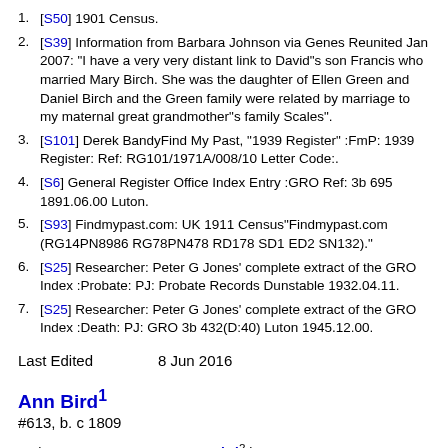1. [S50] 1901 Census.
2. [S39] Information from Barbara Johnson via Genes Reunited Jan 2007: "I have a very very distant link to David"s son Francis who married Mary Birch. She was the daughter of Ellen Green and Daniel Birch and the Green family were related by marriage to my maternal great grandmother"s family Scales".
3. [S101] Derek BandyFind My Past, "1939 Register" :FmP: 1939 Register: Ref: RG101/1971A/008/10 Letter Code:.
4. [S6] General Register Office Index Entry :GRO Ref: 3b 695 1891.06.00 Luton.
5. [S93] Findmypast.com: UK 1911 Census"Findmypast.com (RG14PN8986 RG78PN478 RD178 SD1 ED2 SN132)."
6. [S25] Researcher: Peter G Jones' complete extract of the GRO Index :Probate: PJ: Probate Records Dunstable 1932.04.11.
7. [S25] Researcher: Peter G Jones' complete extract of the GRO Index :Death: PJ: GRO 3b 432(D:40) Luton 1945.12.00.
Last Edited   8 Jun 2016
Ann Bird¹
#613, b. c 1809
Father   George Bird² b. c 1785
Mother   Mary Clitheroe² b. c 1785